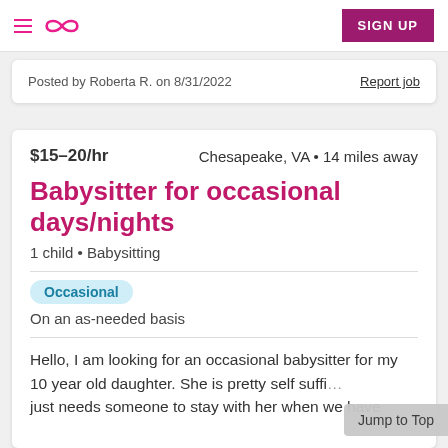SIGN UP
Posted by Roberta R. on 8/31/2022
Report job
$15–20/hr   Chesapeake, VA • 14 miles away
Babysitter for occasional days/nights
1 child • Babysitting
Occasional
On an as-needed basis
Hello, I am looking for an occasional babysitter for my 10 year old daughter. She is pretty self suffi… just needs someone to stay with her when we have